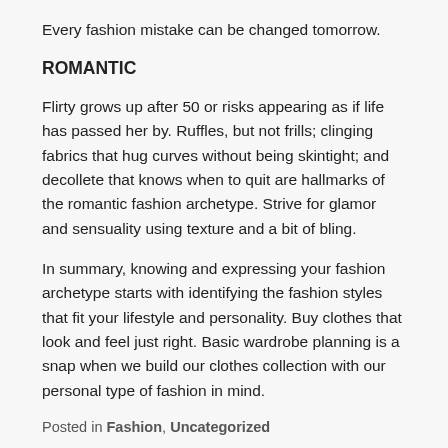Every fashion mistake can be changed tomorrow.
ROMANTIC
Flirty grows up after 50 or risks appearing as if life has passed her by. Ruffles, but not frills; clinging fabrics that hug curves without being skintight; and decollete that knows when to quit are hallmarks of the romantic fashion archetype. Strive for glamor and sensuality using texture and a bit of bling.
In summary, knowing and expressing your fashion archetype starts with identifying the fashion styles that fit your lifestyle and personality. Buy clothes that look and feel just right. Basic wardrobe planning is a snap when we build our clothes collection with our personal type of fashion in mind.
Posted in Fashion, Uncategorized